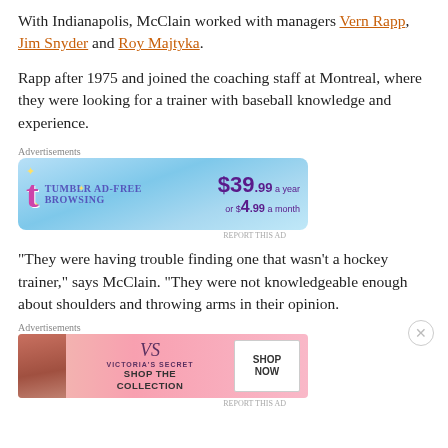With Indianapolis, McClain worked with managers Vern Rapp, Jim Snyder and Roy Majtyka.
Rapp after 1975 and joined the coaching staff at Montreal, where they were looking for a trainer with baseball knowledge and experience.
Advertisements
[Figure (other): Tumblr Ad-Free Browsing advertisement banner: $39.99 a year or $4.99 a month]
“They were having trouble finding one that wasn’t a hockey trainer,” says McClain. “They were not knowledgeable enough about shoulders and throwing arms in their opinion.
Advertisements
[Figure (other): Victoria's Secret advertisement: Shop the Collection. Shop Now.]